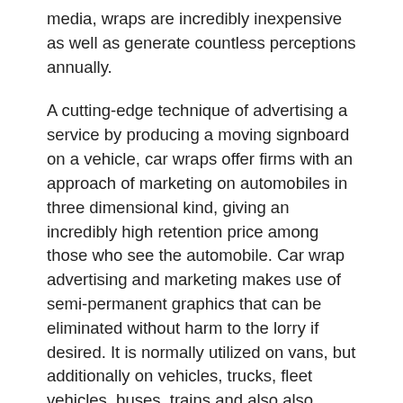media, wraps are incredibly inexpensive as well as generate countless perceptions annually.
A cutting-edge technique of advertising a service by producing a moving signboard on a vehicle, car wraps offer firms with an approach of marketing on automobiles in three dimensional kind, giving an incredibly high retention price among those who see the automobile. Car wrap advertising and marketing makes use of semi-permanent graphics that can be eliminated without harm to the lorry if desired. It is normally utilized on vans, but additionally on vehicles, trucks, fleet vehicles, buses, trains and also also aircraft, actually anything on wheels or that has an outside shell.
Numerous clients with car covers make use of their marketing in locations that typically would be very pricey. Reserving advertising and marketing at such places as trade convention, sports occasions, shows as well as grand openings may require to be done well beforehand as well as